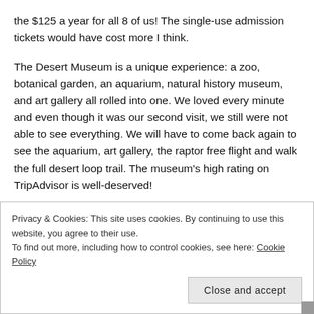the $125 a year for all 8 of us! The single-use admission tickets would have cost more I think.
The Desert Museum is a unique experience: a zoo, botanical garden, an aquarium, natural history museum, and art gallery all rolled into one. We loved every minute and even though it was our second visit, we still were not able to see everything. We will have to come back again to see the aquarium, art gallery, the raptor free flight and walk the full desert loop trail. The museum’s high rating on TripAdvisor is well-deserved!
This was Josh’s first visit to the Desert Museum. It was actually quite busy today because of the federal holiday (Martin Luther
Privacy & Cookies: This site uses cookies. By continuing to use this website, you agree to their use.
To find out more, including how to control cookies, see here: Cookie Policy
Close and accept